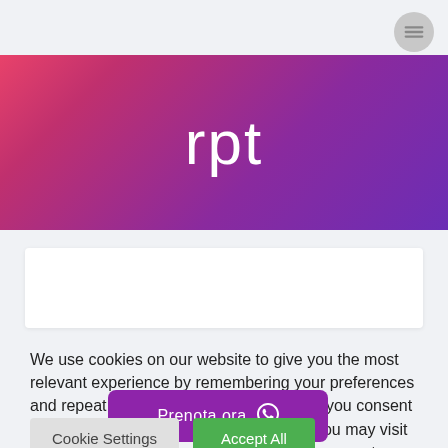[Figure (screenshot): Hamburger menu icon button (three lines) in a gray circle, top-right corner of page]
[Figure (logo): RPT website hero banner with pink-to-purple gradient background and white lowercase text 'rpt']
We use cookies on our website to give you the most relevant experience by remembering your preferences and repeat visits. By clicking "Accept All", you consent to the use of ALL the cookies. However, you may visit "Cookie Settings" to provide a controlled consent.
[Figure (other): Purple 'Prenota ora' button overlay with WhatsApp icon]
Cookie Settings
Accept All